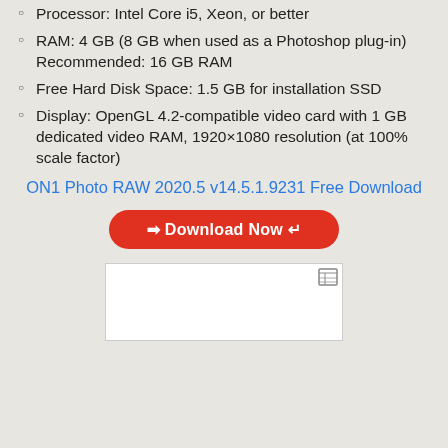Processor: Intel Core i5, Xeon, or better
RAM: 4 GB (8 GB when used as a Photoshop plug-in) Recommended: 16 GB RAM
Free Hard Disk Space: 1.5 GB for installation SSD
Display: OpenGL 4.2-compatible video card with 1 GB dedicated video RAM, 1920×1080 resolution (at 100% scale factor)
ON1 Photo RAW 2020.5 v14.5.1.9231 Free Download
[Figure (other): Red rounded rectangle download button with text: ➡ Download Now ↵]
[Figure (other): White rectangular box with a small table/grid icon in the top right corner]